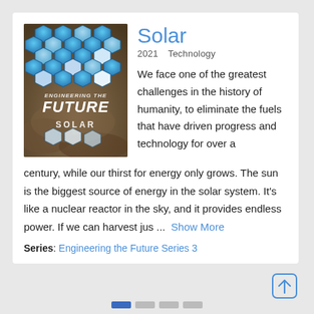[Figure (photo): Book cover for Engineering the Future Solar documentary showing hexagonal solar panels pattern in blue tones on a rocky surface. Text reads ENGINEERING THE FUTURE SOLAR.]
Solar
2021   Technology
We face one of the greatest challenges in the history of humanity, to eliminate the fuels that have driven progress and technology for over a century, while our thirst for energy only grows. The sun is the biggest source of energy in the solar system. It's like a nuclear reactor in the sky, and it provides endless power. If we can harvest jus ...
Series: Engineering the Future Series 3